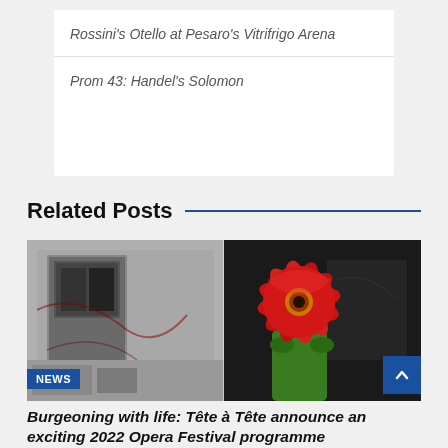Rossini's Otello at Pesaro's Vitrifrigo Arena
Prom 43: Handel's Solomon
Related Posts
[Figure (photo): Composite photo: left side shows a black-and-white image of a dilapidated building with graffiti; right side shows a person in a green outfit holding a large red flower in front of their face against a dark background.]
NEWS
Burgeoning with life: Tête à Tête announce an exciting 2022 Opera Festival programme